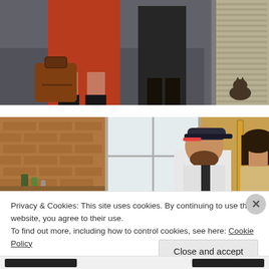[Figure (photo): Street scene showing lower body of person in red dress holding a brown leather handbag, with another person in dark clothing nearby and a window with horizontal blinds visible on the right]
[Figure (photo): Indoor scene with brick wall background, a window, and two people — a bearded man wearing a baseball cap and a woman with dark hair, both smiling or talking]
Privacy & Cookies: This site uses cookies. By continuing to use this website, you agree to their use.
To find out more, including how to control cookies, see here: Cookie Policy
Close and accept